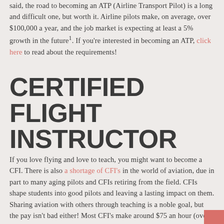said, the road to becoming an ATP (Airline Transport Pilot) is a long and difficult one, but worth it. Airline pilots make, on average, over $100,000 a year, and the job market is expecting at least a 5% growth in the future1. If you're interested in becoming an ATP, click here to read about the requirements!
CERTIFIED FLIGHT INSTRUCTOR
If you love flying and love to teach, you might want to become a CFI. There is also a shortage of CFI's in the world of aviation, due in part to many aging pilots and CFIs retiring from the field. CFIs shape students into good pilots and leaving a lasting impact on them. Sharing aviation with others through teaching is a noble goal, but the pay isn't bad either! Most CFI's make around $75 an hour (over $64,000 a year) flying with students2. You